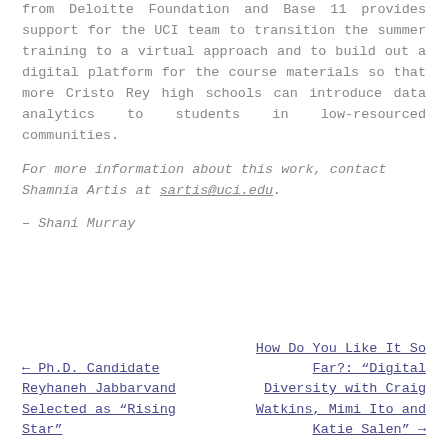from Deloitte Foundation and Base 11 provides support for the UCI team to transition the summer training to a virtual approach and to build out a digital platform for the course materials so that more Cristo Rey high schools can introduce data analytics to students in low-resourced communities.
For more information about this work, contact Shamnia Artis at sartis@uci.edu.
– Shani Murray
← Ph.D. Candidate Reyhaneh Jabbarvand Selected as "Rising Star"
How Do You Like It So Far?: "Digital Diversity with Craig Watkins, Mimi Ito and Katie Salen" →